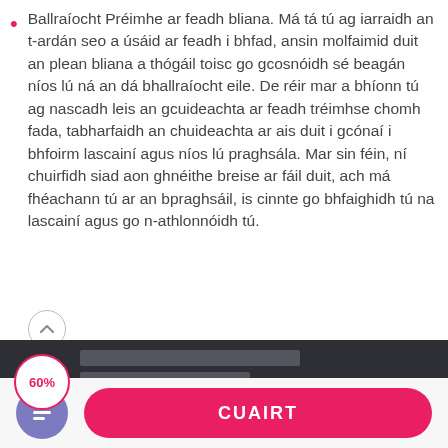Ballraíocht Préimhe ar feadh bliana. Má tá tú ag iarraidh an t-ardán seo a úsáid ar feadh i bhfad, ansin molfaimid duit an plean bliana a thógáil toisc go gcosnóidh sé beagán níos lú ná an dá bhallraíocht eile. De réir mar a bhíonn tú ag nascadh leis an gcuideachta ar feadh tréimhse chomh fada, tabharfaidh an chuideachta ar ais duit i gcónaí i bhfoirm lascainí agus níos lú praghsála. Mar sin féin, ní chuirfidh siad aon ghnéithe breise ar fáil duit, ach má fhéachann tú ar an bpraghsáil, is cinnte go bhfaighidh tú na lascainí agus go n-athlonnóidh tú.
[Figure (screenshot): Screenshot of a dark-themed app/website interface showing '60%' circle badge and content listing]
CUAIRT